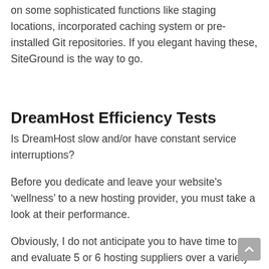on some sophisticated functions like staging locations, incorporated caching system or pre-installed Git repositories. If you elegant having these, SiteGround is the way to go.
DreamHost Efficiency Tests
Is DreamHost slow and/or have constant service interruptions?
Before you dedicate and leave your website's ‘wellness’ to a new hosting provider, you must take a look at their performance.
Obviously, I do not anticipate you to have time to go and evaluate 5 or 6 hosting suppliers over a variety of weeks.